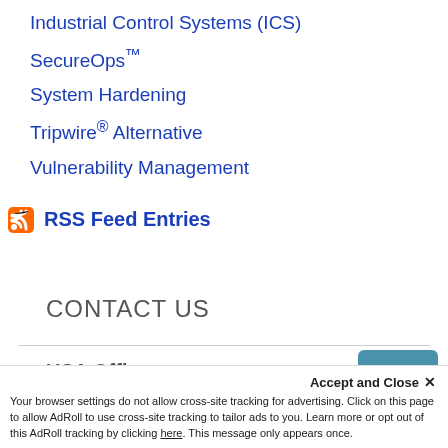Industrial Control Systems (ICS)
SecureOps™
System Hardening
Tripwire® Alternative
Vulnerability Management
RSS Feed Entries
CONTACT US
USA Offices
Accept and Close ×
Your browser settings do not allow cross-site tracking for advertising. Click on this page to allow AdRoll to use cross-site tracking to tailor ads to you. Learn more or opt out of this AdRoll tracking by clicking here. This message only appears once.